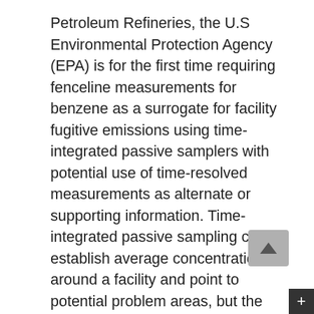Petroleum Refineries, the U.S Environmental Protection Agency (EPA) is for the first time requiring fenceline measurements for benzene as a surrogate for facility fugitive emissions using time-integrated passive samplers with potential use of time-resolved measurements as alternate or supporting information. Time-integrated passive sampling can establish average concentrations around a facility and point to potential problem areas, but the information provided is not real-time and reflects integrated source contributions in the local air shed.8 Time-resolved measurements that combine pollutant concentration and wind data can be used to support passive sampling strategies by helping to decipher the origin of emissions and provide time-stamped information on fenceline concentrations.Ground-based optical remote sensing (ORS) is a class of time-resolved techniques